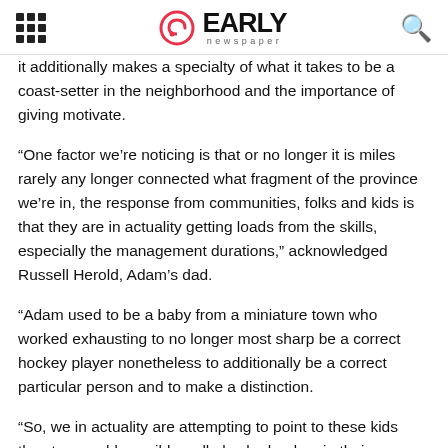EARLY newspaper
it additionally makes a specialty of what it takes to be a coast-setter in the neighborhood and the importance of giving motivate.
“One factor we’re noticing is that or no longer it is miles rarely any longer connected what fragment of the province we’re in, the response from communities, folks and kids is that they are in actuality getting loads from the skills, especially the management durations,” acknowledged Russell Herold, Adam’s dad.
“Adam used to be a baby from a miniature town who worked exhausting to no longer most sharp be a correct hockey player nonetheless to additionally be a correct particular person and to make a distinction.
“So, we in actuality are attempting to point to these kids they too would possibly well also be leaders in their communities by working exhausting, being form and helping others. These are attributes that